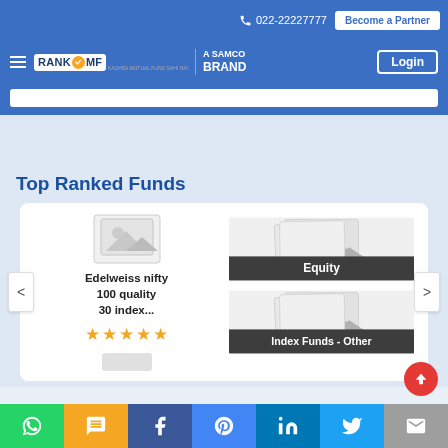022-22227777 | Become a Partner | RANK MF - A SAMCO BRAND | Login
[Figure (screenshot): RankMF website navigation with logo, phone number, Become a Partner button, Login button]
Top Ranked Funds
[Figure (screenshot): Fund card carousel showing Edelweiss nifty 100 quality 30 index... with 5 star rating. Right side shows Equity and Index Funds - Other category cards with image placeholders. Left and right navigation arrows visible.]
WhatsApp | SMS | Facebook | Messenger | LinkedIn | Twitter | Email